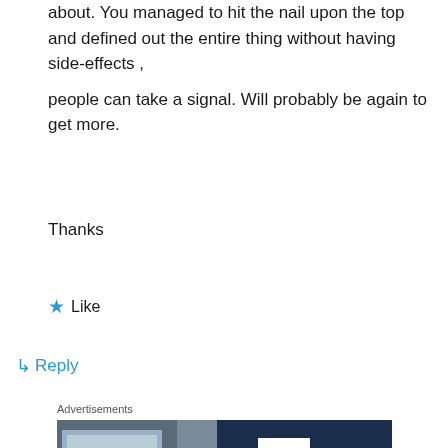about. You managed to hit the nail upon the top and defined out the entire thing without having side-effects , people can take a signal. Will probably be again to get more.
Thanks
★ Like
↳ Reply
Advertisements
[Figure (photo): Advertisement banner split into two halves: left side shows a smiling person holding an OPEN sign in front of a shop; right side is dark navy blue with a white 'P' logo (speech bubble shape) and bold white text reading 'WORDPRESS HOSTING THAT MEANS']